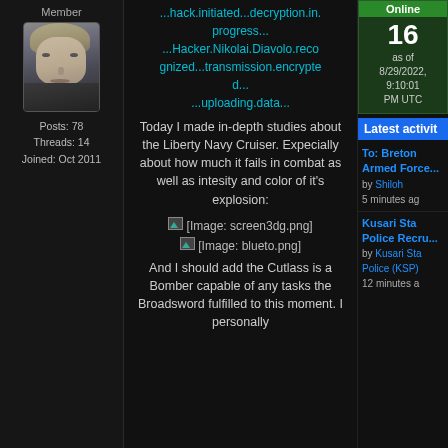Member
[Figure (photo): Profile photo of a young man with light hair and a serious expression, appearing to be a movie/TV character named Nikolai Diavolo]
Posts: 78
Threads: 14
Joined: Oct 2011
...hack.initiated...decryption.in.progress...
...Hacker.Nikolai.Diavolo.recognized...transmission.encrypted...
...uploading.data...
Today I made in-depth studies about the Liberty Navy Cruiser. Expecially about how much it fails in combat as well as intesity and color of it's explosion:
[Figure (screenshot): [Image: screen3dg.png]]
[Figure (screenshot): [Image: blueto.png]]
And I should add the Cutlass is a Bomber capable of any tasks the Broadsword fulfilled to this moment. I personally
16
as of 8/29/2022, 9:10:01 PM UTC
Latest activit
To: Breton Armed Force...
by Shiloh
5 minutes ago
Kusari Sta Police Recru...
by Kusari Sta Police (KSP)
12 minutes a